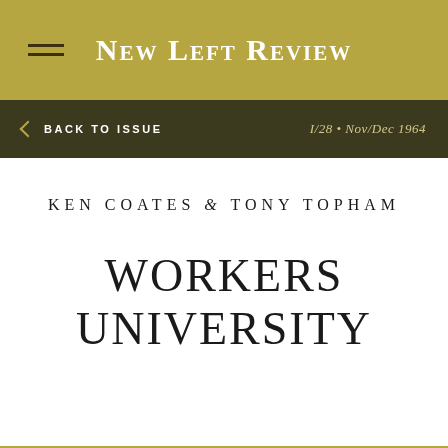New Left Review
BACK TO ISSUE · I/28 · Nov/Dec 1964
KEN COATES & TONY TOPHAM
WORKERS UNIVERSITY
SHARE